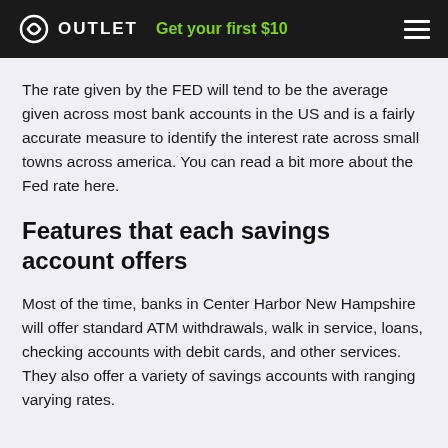OUTLET — Get your first $10
The rate given by the FED will tend to be the average given across most bank accounts in the US and is a fairly accurate measure to identify the interest rate across small towns across america. You can read a bit more about the Fed rate here.
Features that each savings account offers
Most of the time, banks in Center Harbor New Hampshire will offer standard ATM withdrawals, walk in service, loans, checking accounts with debit cards, and other services. They also offer a variety of savings accounts with ranging varying rates.